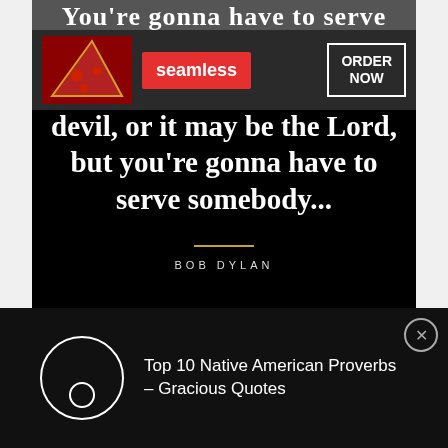[Figure (screenshot): Quote image with black background showing Bob Dylan quote text in white serif font, with a Seamless pizza advertisement banner overlaid at the top]
You're gonna have to serve somebody; well, it may be the devil, or it may be the Lord, but you're gonna have to serve somebody...
[Figure (screenshot): Bottom notification bar for 'Top 10 Native American Proverbs - Gracious Quotes' with circular loading icon on dark background]